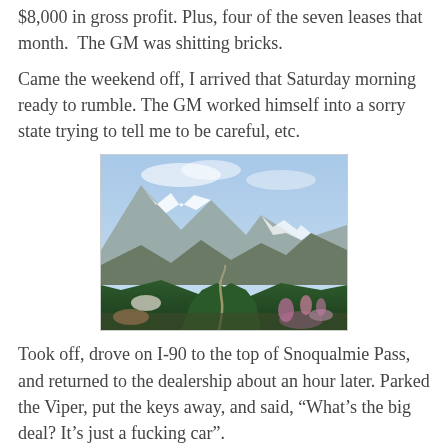$8,000 in gross profit. Plus, four of the seven leases that month.  The GM was shitting bricks.
Came the weekend off, I arrived that Saturday morning ready to rumble. The GM worked himself into a sorry state trying to tell me to be careful, etc.
[Figure (photo): Mountain valley landscape with snow-capped peaks, dense evergreen forest, and a winding road/river through the valley below. Blue sky with light clouds above.]
Took off, drove on I-90 to the top of Snoqualmie Pass, and returned to the dealership about an hour later. Parked the Viper, put the keys away, and said, “What’s the big deal? It’s just a fucking car”.